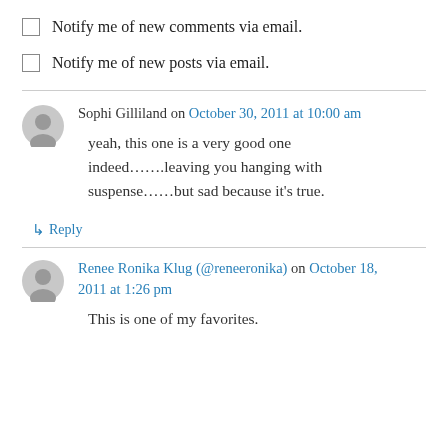Notify me of new comments via email.
Notify me of new posts via email.
Sophi Gilliland on October 30, 2011 at 10:00 am
yeah, this one is a very good one indeed…….leaving you hanging with suspense……but sad because it's true.
↳ Reply
Renee Ronika Klug (@reneeronika) on October 18, 2011 at 1:26 pm
This is one of my favorites.